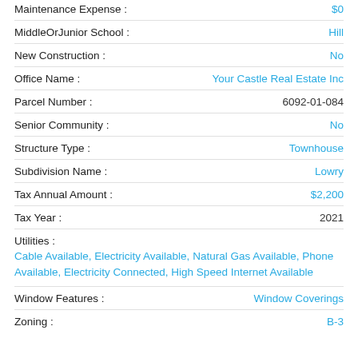Maintenance Expense : $0
MiddleOrJunior School : Hill
New Construction : No
Office Name : Your Castle Real Estate Inc
Parcel Number : 6092-01-084
Senior Community : No
Structure Type : Townhouse
Subdivision Name : Lowry
Tax Annual Amount : $2,200
Tax Year : 2021
Utilities : Cable Available, Electricity Available, Natural Gas Available, Phone Available, Electricity Connected, High Speed Internet Available
Window Features : Window Coverings
Zoning : B-3